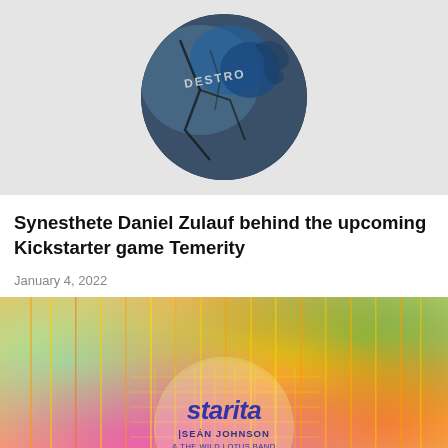[Figure (photo): Circular album art or image partially visible at top, showing dark cracked textures with blue tones and text 'DESTRO' visible, against a light gray background]
Synesthete Daniel Zulauf behind the upcoming Kickstarter game Temerity
January 4, 2022
[Figure (photo): Colorful psychedelic album art for 'starita' featuring Sean Johnson & The Wild Lotus Band - The Search. Bright swirling colors including yellow, orange, pink, green, teal with vertical streaks and a circular design containing text.]